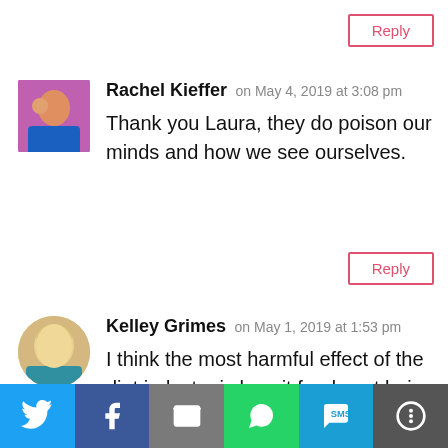[Figure (other): Reply button (bordered, crimson) top right]
[Figure (photo): Avatar photo of Rachel Kieffer]
Rachel Kieffer on May 4, 2019 at 3:08 pm
Thank you Laura, they do poison our minds and how we see ourselves.
[Figure (other): Reply button (bordered, crimson) after Rachel Kieffer comment]
[Figure (photo): Avatar photo of Kelley Grimes]
Kelley Grimes on May 1, 2019 at 1:53 pm
I think the most harmful effect of the diet industry is how it feeds not being in love with and grateful for the bodies we have
[Figure (infographic): Social share bar with Twitter, Facebook, Email, WhatsApp, SMS, and More buttons]